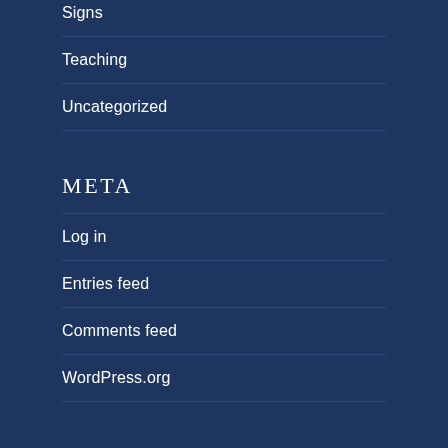Signs
Teaching
Uncategorized
META
Log in
Entries feed
Comments feed
WordPress.org